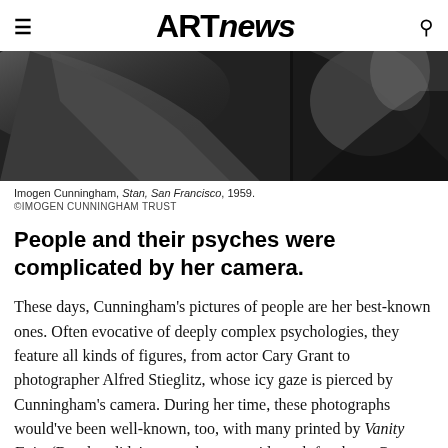ARTnews
[Figure (photo): Black and white close-up photograph of a person, partially cropped, dark tones, showing torso/shoulder area]
Imogen Cunningham, Stan, San Francisco, 1959.
©IMOGEN CUNNINGHAM TRUST
People and their psyches were complicated by her camera.
These days, Cunningham's pictures of people are her best-known ones. Often evocative of deeply complex psychologies, they feature all kinds of figures, from actor Cary Grant to photographer Alfred Stieglitz, whose icy gaze is pierced by Cunningham's camera. During her time, these photographs would've been well-known, too, with many printed by Vanity Fair. (But that didn't mean she was paid much for them. Getty curator Paul Martineau writes